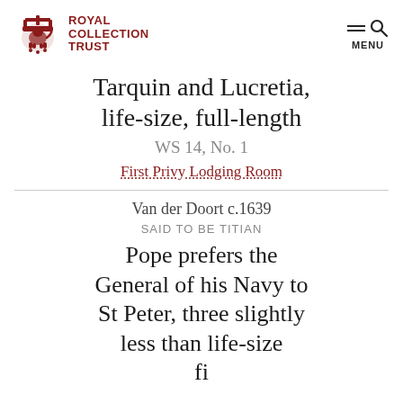Royal Collection Trust
Tarquin and Lucretia, life-size, full-length
WS 14, No. 1
First Privy Lodging Room
Van der Doort c.1639
SAID TO BE TITIAN
Pope prefers the General of his Navy to St Peter, three slightly less than life-size figures, full-length